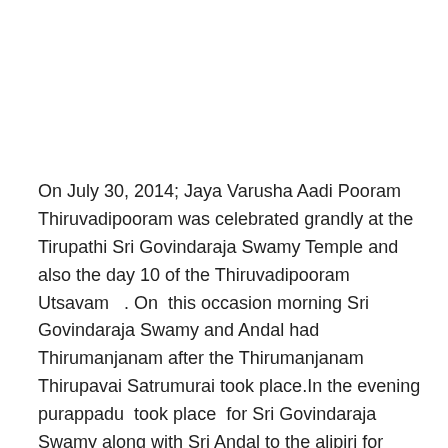On July 30, 2014; Jaya Varusha Aadi Pooram Thiruvadipooram was celebrated grandly at the Tirupathi Sri Govindaraja Swamy Temple and also the day 10 of the Thiruvadipooram  Utsavam   . On  this occasion morning Sri Govindaraja Swamy and Andal had Thirumanjanam after the Thirumanjanam Thirupavai Satrumurai took place.In the evening  purappadu  took place  for Sri Govindaraja Swamy along with Sri Andal to the alipiri for receiving the Thiruvenkatamudiyan Pattu Vasathiram HH Periya Kelviappan Jeer Swamy Presented the vasthiram after returning to the temple serthi took place.With this Thiruvaadipooram Uthsavam Concludes.Several astikas had